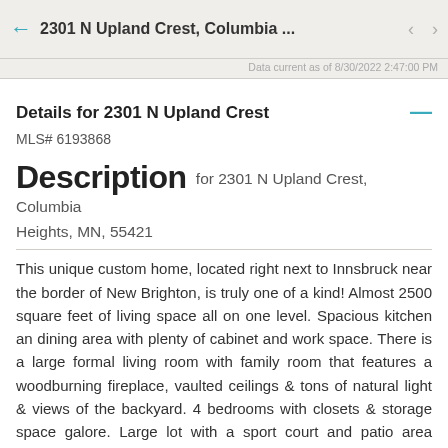2301 N Upland Crest, Columbia ...
Data current as of 8/30/2022 2:47:00 PM
Details for 2301 N Upland Crest
MLS# 6193868
Description for 2301 N Upland Crest, Columbia Heights, MN, 55421
This unique custom home, located right next to Innsbruck near the border of New Brighton, is truly one of a kind! Almost 2500 square feet of living space all on one level. Spacious kitchen an dining area with plenty of cabinet and work space. There is a large formal living room with family room that features a woodburning fireplace, vaulted ceilings & tons of natural light & views of the backyard. 4 bedrooms with closets & storage space galore. Large lot with a sport court and patio area perfect for entertaining. 2